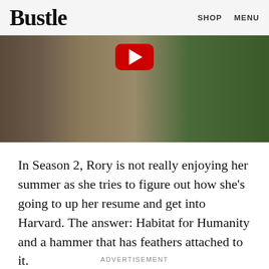Bustle  SHOP  MENU
[Figure (screenshot): Video thumbnail showing two people walking outdoors with a YouTube play button overlay]
In Season 2, Rory is not really enjoying her summer as she tries to figure out how she's going to up her resume and get into Harvard. The answer: Habitat for Humanity and a hammer that has feathers attached to it.
ADVERTISEMENT